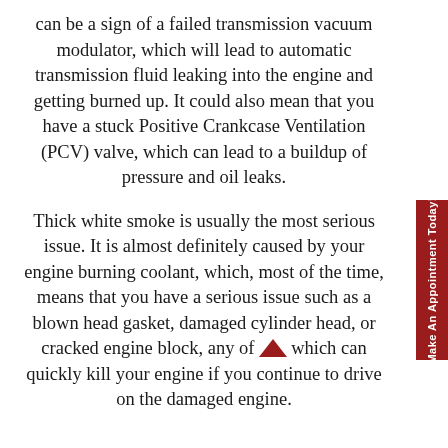can be a sign of a failed transmission vacuum modulator, which will lead to automatic transmission fluid leaking into the engine and getting burned up. It could also mean that you have a stuck Positive Crankcase Ventilation (PCV) valve, which can lead to a buildup of pressure and oil leaks.
Thick white smoke is usually the most serious issue. It is almost definitely caused by your engine burning coolant, which, most of the time, means that you have a serious issue such as a blown head gasket, damaged cylinder head, or cracked engine block, any of which can quickly kill your engine if you continue to drive on the damaged engine.